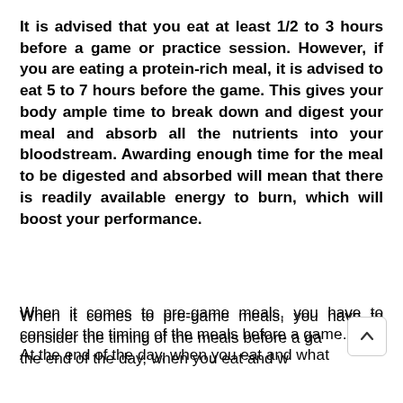It is advised that you eat at least 1/2 to 3 hours before a game or practice session. However, if you are eating a protein-rich meal, it is advised to eat 5 to 7 hours before the game. This gives your body ample time to break down and digest your meal and absorb all the nutrients into your bloodstream. Awarding enough time for the meal to be digested and absorbed will mean that there is readily available energy to burn, which will boost your performance.
When it comes to pre-game meals, you have to consider the timing of the meals before a gam... At the end of the day, when you eat and what...